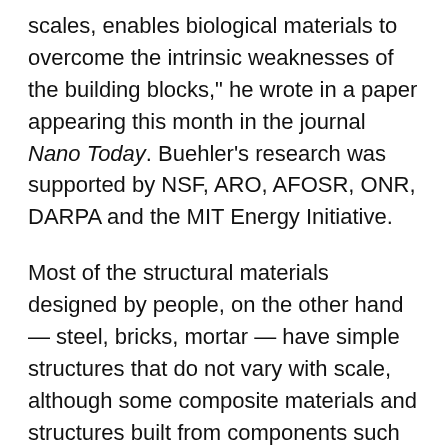scales, enables biological materials to overcome the intrinsic weaknesses of the building blocks," he wrote in a paper appearing this month in the journal Nano Today. Buehler's research was supported by NSF, ARO, AFOSR, ONR, DARPA and the MIT Energy Initiative.
Most of the structural materials designed by people, on the other hand — steel, bricks, mortar — have simple structures that do not vary with scale, although some composite materials and structures built from components such as carbon nanotubes are beginning to implement at least some differentiation of structure with scale. But Buehler sees this as an area that is ripe for much more sophisticated and complex new designs.